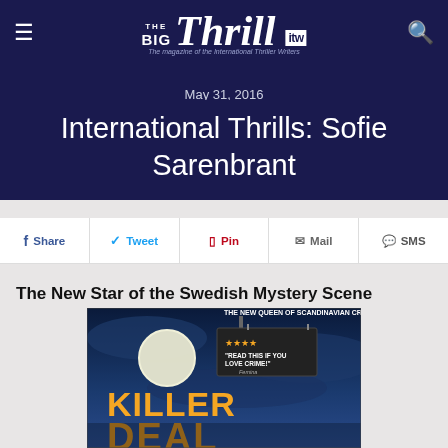The Big Thrill — The magazine of the International Thriller Writers
May 31, 2016
International Thrills: Sofie Sarenbrant
Share | Tweet | Pin | Mail | SMS
The New Star of the Swedish Mystery Scene
[Figure (photo): Book cover of 'Killer Deal' by Sofie Sarenbrant. Dark blue atmospheric background with a full moon and a real estate sign on a hanging board. Orange grunge title text reads 'KILLER DEAL'. White text at top reads 'THE NEW QUEEN OF SCANDINAVIAN CRIME'. Dark sign with gold stars and text: 'READ THIS IF YOU LOVE CRIME!' – Femina.]